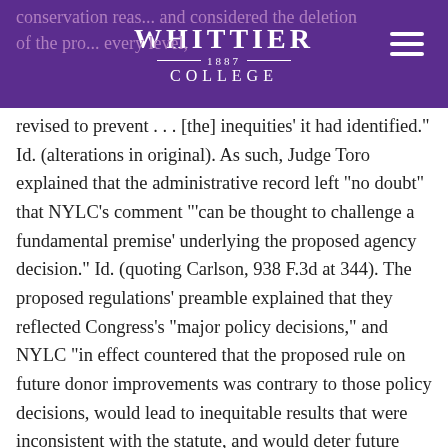Whittier College 1887
conservationreas... and considered the deletion of the pro... every level, revised to prevent . . . [the] inequities' it had identified." Id. (alterations in original). As such, Judge Toro explained that the administrative record left “no doubt” that NYLC’s comment “’can be thought to challenge a fundamental premise’ underlying the proposed agency decision.” Id. (quoting Carlson, 938 F.3d at 344). The proposed regulations’ preamble explained that they reflected Congress’s “major policy decisions,” and NYLC “in effect countered that the proposed rule on future donor improvements was contrary to those policy decisions, would lead to inequitable results that were inconsistent with the statute, and would deter future contributions.” Id. at 225 (quoting 48 Fed. Reg. at 22,940). In other words, Judge Toro found that NYLC “offered comments that,